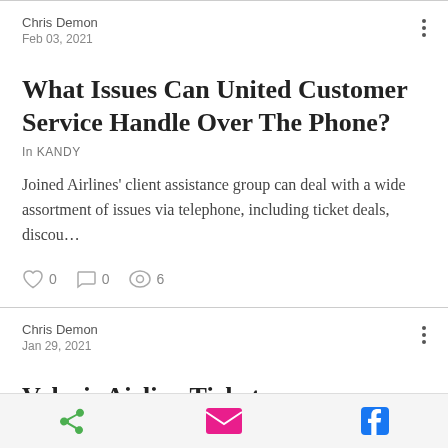Chris Demon
Feb 03, 2021
What Issues Can United Customer Service Handle Over The Phone?
In KANDY
Joined Airlines' client assistance group can deal with a wide assortment of issues via telephone, including ticket deals, discou…
0  0  6
Chris Demon
Jan 29, 2021
Volaris Airline Tickets